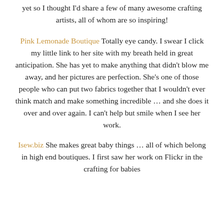yet so I thought I'd share a few of many awesome crafting artists, all of whom are so inspiring!
Pink Lemonade Boutique Totally eye candy. I swear I click my little link to her site with my breath held in great anticipation. She has yet to make anything that didn't blow me away, and her pictures are perfection. She's one of those people who can put two fabrics together that I wouldn't ever think match and make something incredible … and she does it over and over again. I can't help but smile when I see her work.
Isew.biz She makes great baby things … all of which belong in high end boutiques. I first saw her work on Flickr in the crafting for babies